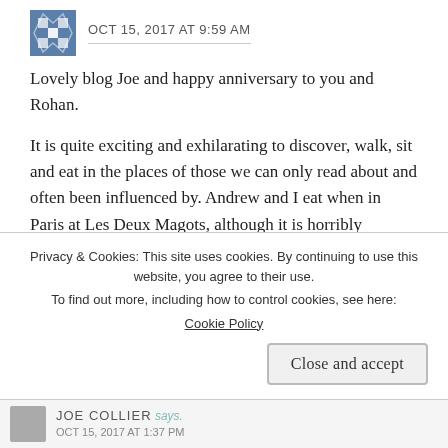OCT 15, 2017 AT 9:59 AM
Lovely blog Joe and happy anniversary to you and Rohan.
It is quite exciting and exhilarating to discover, walk, sit and eat in the places of those we can only read about and often been influenced by. Andrew and I eat when in Paris at Les Deux Magots, although it is horribly touristy I always feel slightly in awe of the illustrious past I am now sharing.
★ Like
Privacy & Cookies: This site uses cookies. By continuing to use this website, you agree to their use.
To find out more, including how to control cookies, see here: Cookie Policy
Close and accept
JOE COLLIER says.